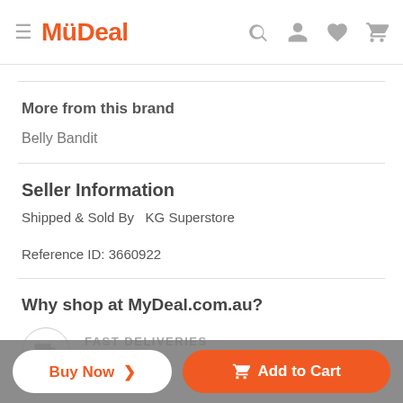MyDeal
More from this brand
Belly Bandit
Seller Information
Shipped & Sold By  KG Superstore
Reference ID: 3660922
Why shop at MyDeal.com.au?
FAST DELIVERIES
Buy Now >   Add to Cart